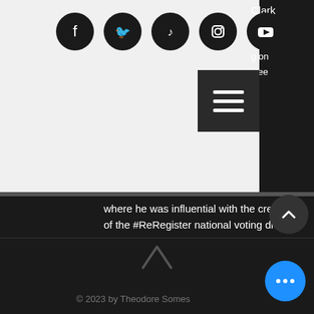[Figure (screenshot): Social media icons row: Facebook, Twitter, TikTok, Instagram, YouTube — white icons on black circles]
[Figure (screenshot): Hamburger menu button — three white horizontal lines on dark background]
where he was influential with the creation of the #ReRegister national voting drive, the first of its kind for the Party. He was also the coordinator for the Gary Johnson for President campaign in Westmoreland County.
In his (very) limited free time, Theodore enjoys playing the mandolin and outdoor activities.
© 2023 by Theodore Somes